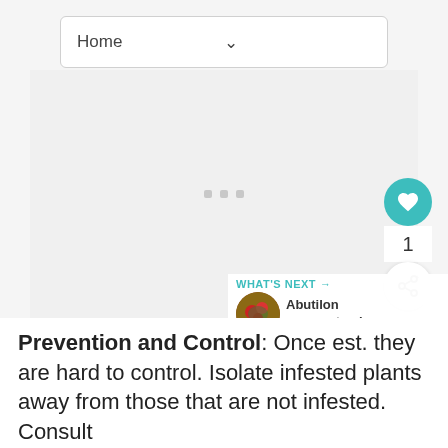[Figure (screenshot): Dropdown navigation bar with 'Home' label and chevron down arrow]
[Figure (other): Large grey placeholder image area with three small grey loading dots in the center]
[Figure (other): Floating action buttons: teal heart button, count '1', and share button on the right side]
[Figure (other): What's Next callout with teal text 'WHAT'S NEXT →', circular plant thumbnail, and text 'Abutilon megapotamic...']
Prevention and Control: Once est. they are hard to control. Isolate infested plants away from those that are not infested. Consult